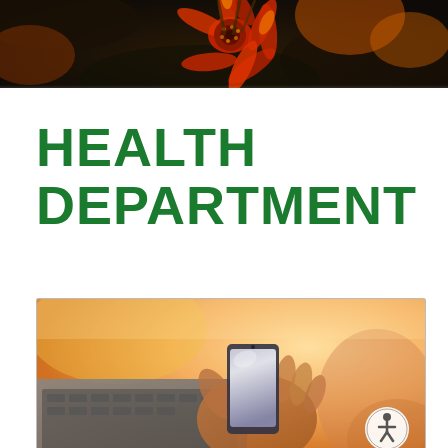[Figure (photo): Top banner: close-up of red and yellow flower with blurred dark background]
HEALTH DEPARTMENT
[Figure (photo): Person's hand holding a smartphone near a laptop keyboard, warm blurred background with yellow/orange tones. Accessibility icon (wheelchair/person symbol) overlaid at bottom right.]